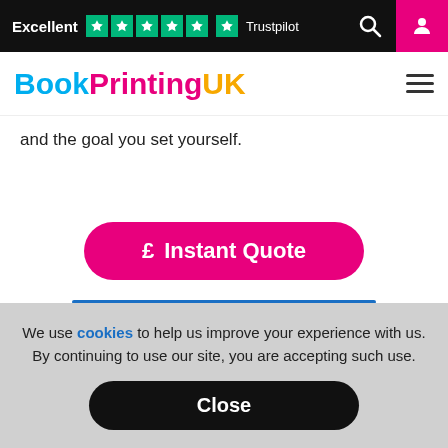Excellent ★★★★★ Trustpilot
[Figure (logo): BookPrintingUK logo with Book in cyan, Printing in magenta, UK in yellow]
and the goal you set yourself.
[Figure (other): Magenta rounded button with pound sign and text 'Instant Quote']
We use cookies to help us improve your experience with us. By continuing to use our site, you are accepting such use.
[Figure (other): Black rounded Close button]